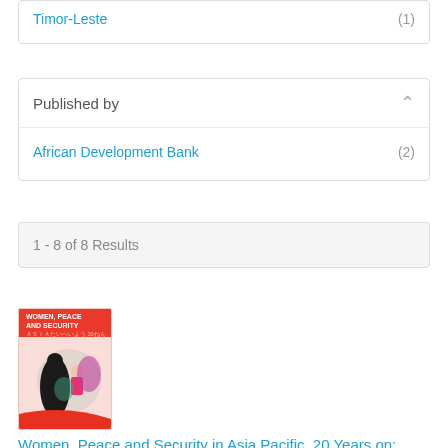Timor-Leste (1)
Published by
African Development Bank (2)
1 - 8 of 8 Results
[Figure (photo): Book cover: Women, Peace and Security in Asia Pacific, 20 Years on]
Women, Peace and Security in Asia Pacific, 20 Years on: Progress achieved and lessons learned
Date: Monday, 26 October 2020
The 20th anniversary of the Women, Peace and Security (WPS)